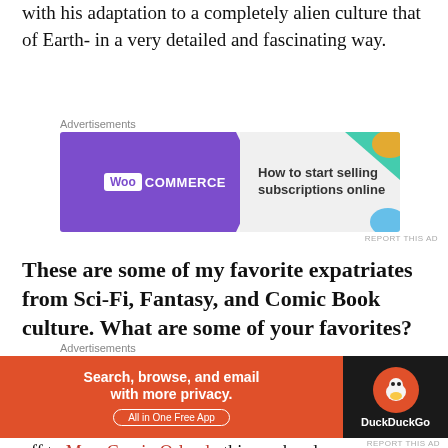with his adaptation to a completely alien culture that of Earth- in a very detailed and fascinating way.
[Figure (other): WooCommerce advertisement banner: purple/white banner with WooCommerce logo on left, text 'How to start selling subscriptions online' on right with teal and orange decorative shapes]
These are some of my favorite expatriates from Sci-Fi, Fantasy, and Comic Book culture. What are some of your favorites?
*Don't know what Grokking means?  I guess you should read Stranger In A Strange Land, then.  I'm off to MegaCon in Orlando this weekend, so you can tell
[Figure (other): DuckDuckGo advertisement banner: orange left section with text 'Search, browse, and email with more privacy. All in One Free App', dark right section with DuckDuckGo duck logo]